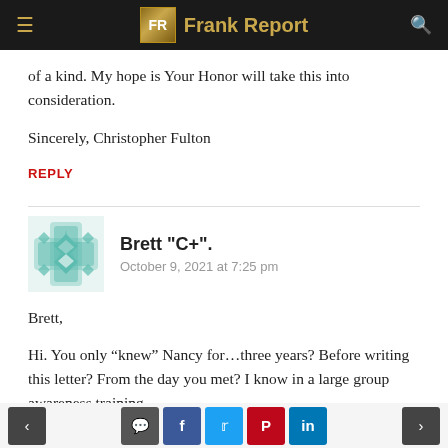Frank Report
of a kind. My hope is Your Honor will take this into consideration.

Sincerely, Christopher Fulton
REPLY
Brett "C+".
October 9, 2021 at 7:25 pm
Brett,

Hi. You only “knew” Nancy for...three years? Before writing this letter? From the day you met? I know in a large group awareness training
< [comment] [facebook] [twitter] [pinterest] [linkedin] >